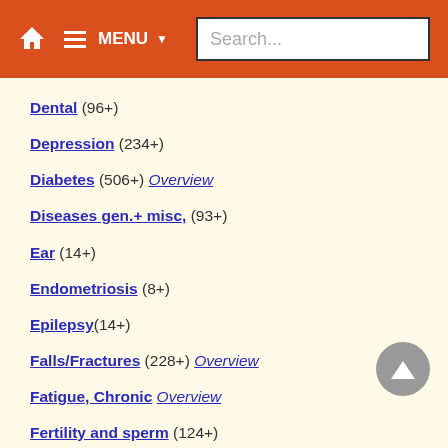MENU Search...
Dental (96+)
Depression (234+)
Diabetes (506+) Overview
Diseases gen.+ misc, (93+)
Ear (14+)
Endometriosis (8+)
Epilepsy(14+)
Falls/Fractures (228+) Overview
Fatigue, Chronic Overview
Fertility and sperm (124+)
Fibromyalgia Overview
Fractures Overview